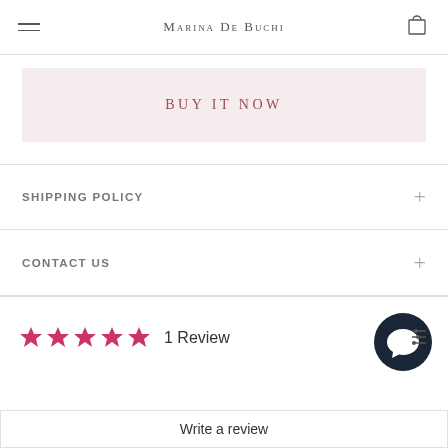Marina De Buchi
BUY IT NOW
SHIPPING POLICY
CONTACT US
★★★★★ 1 Review
Write a review